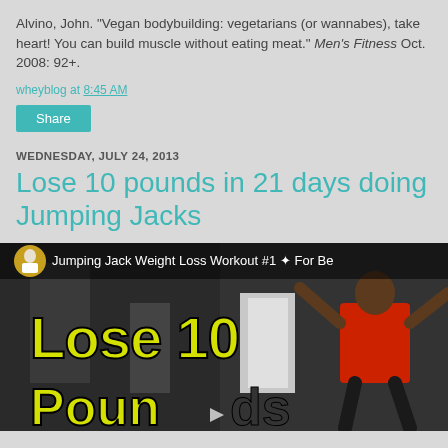Alvino, John. "Vegan bodybuilding: vegetarians (or wannabes), take heart! You can build muscle without eating meat." Men's Fitness Oct. 2008: 92+.
wheyblog at 8:45 AM
Share
WEDNESDAY, JULY 24, 2013
Lose 10 pounds in 21 days doing Jumping Jacks
[Figure (screenshot): Video thumbnail showing 'Lose 10 Pounds' text in large yellow letters over a dark background with a person in a red shirt doing jumping jacks. A small circular profile icon and the text 'Jumping Jack Weight Loss Workout #1 ✦ For Be' are visible at the top.]